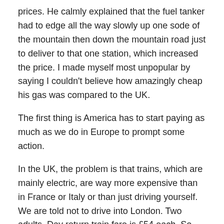prices.  He calmly explained that the fuel tanker had to edge all the way slowly up one sode of the mountain then down the mountain road just to deliver to that one station, which increased the price. I made myself most unpopular by saying I couldn't believe how amazingly cheap his gas was compared to the UK.
The first thing is America has to start paying as much as we do in Europe to prompt some action.
In the UK, the problem is that trains, which are mainly electric, are way more expensive than in France or Italy or than just driving yourself. We are told not to drive into London.  Two adults. Day return train fare is £54 each. So £108. My car will use £40 in diesel. Then on a weekday there's £11.50 congestion charge. Plus from 8th April 2019, a high emission tax for pre-2015 diesels of £12.50.